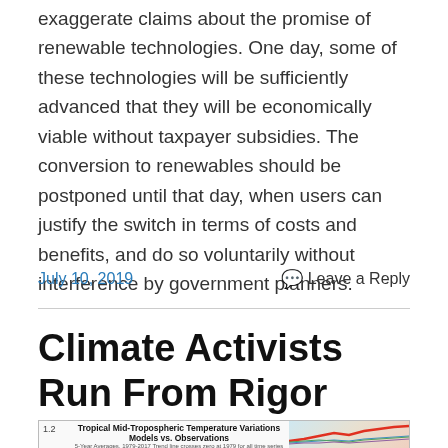exaggerate claims about the promise of renewable technologies. One day, some of these technologies will be sufficiently advanced that they will be economically viable without taxpayer subsidies. The conversion to renewables should be postponed until that day, when users can justify the switch in terms of costs and benefits, and do so voluntarily without interference by government planners.
July 10, 2019
Leave a Reply
Climate Activists Run From Rigor
[Figure (continuous-plot): Tropical Mid-Tropospheric Temperature Variations Models vs. Observations. 5-Year Averages, 1979-2017 Trend line crosses zero at 1979 for all time series. Y-axis label 1.2 visible. Chart shows multiple colored lines representing models and observations.]